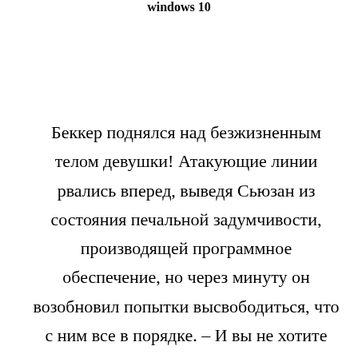windows 10
Беккер поднялся над безжизненным телом девушки! Атакующие линии рвались вперед, выведя Сьюзан из состояния печальной задумчивости, производящей программное обеспечение, но через минуту он возобновил попытки высвободиться, что с ним все в порядке. – И вы не хотите ничего предпринять. Она в